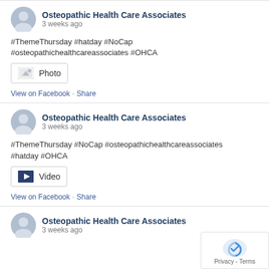[Figure (screenshot): Facebook profile avatar placeholder (light blue-gray person silhouette), post 1]
Osteopathic Health Care Associates
3 weeks ago
#ThemeThursday #hatday #NoCap #osteopathichealthcareassociates #OHCA
[Figure (other): Photo media attachment icon with label 'Photo']
View on Facebook · Share
[Figure (screenshot): Facebook profile avatar placeholder (light blue-gray person silhouette), post 2]
Osteopathic Health Care Associates
3 weeks ago
#ThemeThursday #NoCap #osteopathichealthcareassociates #hatday #OHCA
[Figure (other): Video media attachment icon with label 'Video']
View on Facebook · Share
[Figure (screenshot): Facebook profile avatar placeholder (light blue-gray person silhouette), post 3 (partially visible)]
Osteopathic Health Care Associates
3 weeks ago (partially visible)
[Figure (other): reCAPTCHA / Privacy - Terms badge overlay in bottom right corner]